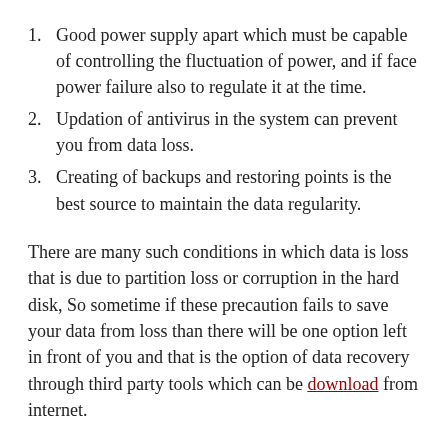Good power supply apart which must be capable of controlling the fluctuation of power, and if face power failure also to regulate it at the time.
Updation of antivirus in the system can prevent you from data loss.
Creating of backups and restoring points is the best source to maintain the data regularity.
There are many such conditions in which data is loss that is due to partition loss or corruption in the hard disk, So sometime if these precaution fails to save your data from loss than there will be one option left in front of you and that is the option of data recovery through third party tools which can be download from internet.